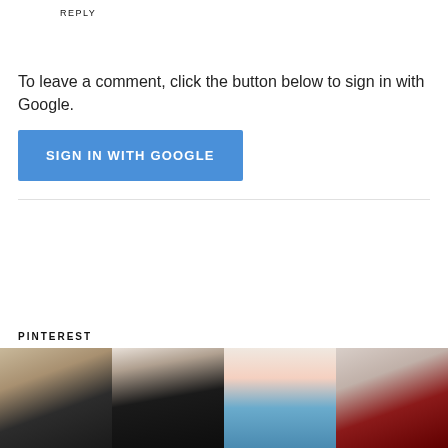REPLY
To leave a comment, click the button below to sign in with Google.
SIGN IN WITH GOOGLE
PINTEREST
[Figure (photo): Four Pinterest thumbnail images: blonde woman in dark jacket, brunette woman in black turtleneck, blue and nude almond nails, dark red nails with ring]